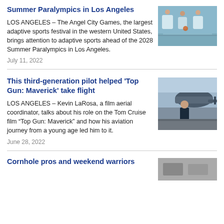Summer Paralympics in Los Angeles
LOS ANGELES – The Angel City Games, the largest adaptive sports festival in the western United States, brings attention to adaptive sports ahead of the 2028 Summer Paralympics in Los Angeles.
July 11, 2022
[Figure (photo): Children playing adaptive sports outdoors on a court]
This third-generation pilot helped 'Top Gun: Maverick' take flight
LOS ANGELES – Kevin LaRosa, a film aerial coordinator, talks about his role on the Tom Cruise film "Top Gun: Maverick" and how his aviation journey from a young age led him to it.
June 28, 2022
[Figure (photo): Man standing in front of a helicopter on a tarmac]
Cornhole pros and weekend warriors